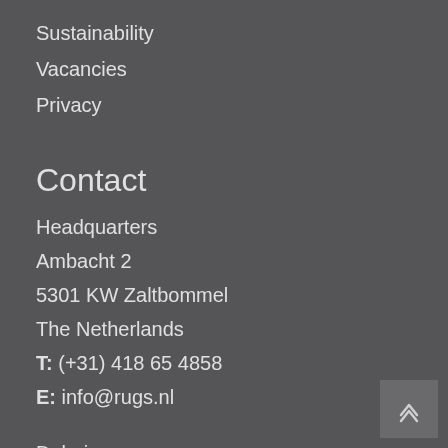Sustainability
Vacancies
Privacy
Contact
Headquarters
Ambacht 2
5301 KW Zaltbommel
The Netherlands
T: (+31) 418 65 4858
E: info@rugs.nl
Dubai
New York
Paris